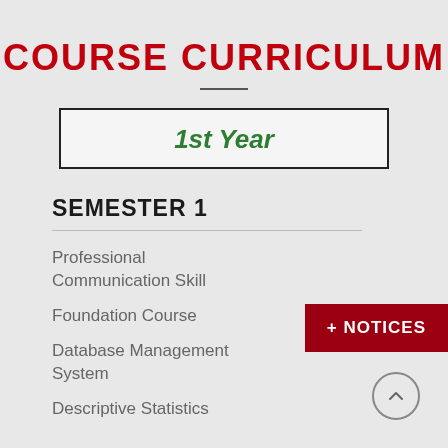COURSE CURRICULUM
1st Year
SEMESTER 1
Professional Communication Skill
Foundation Course
Database Management System
Descriptive Statistics
+ NOTICES